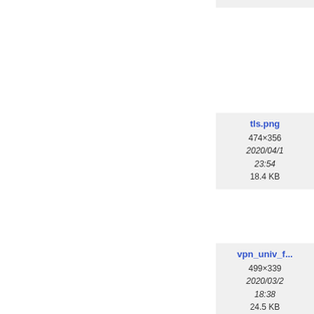[Figure (screenshot): File thumbnail card for tls.png showing metadata: 474×356, 2020/04/1, 23:54, 18.4 KB]
tls.png
474×356
2020/04/1
23:54
18.4 KB
[Figure (screenshot): File thumbnail card for vpn_univ_f... showing metadata: 499×339, 2020/03/2, 18:38, 24.5 KB]
vpn_univ_f...
499×339
2020/03/2
18:38
24.5 KB